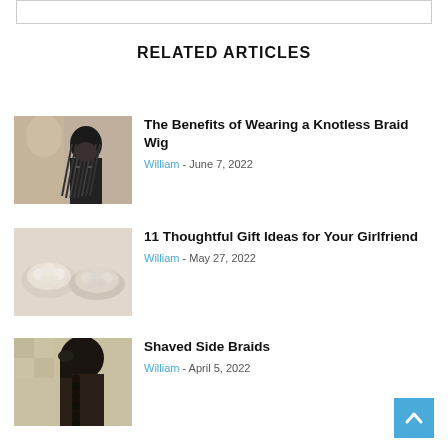RELATED ARTICLES
The Benefits of Wearing a Knotless Braid Wig - William - June 7, 2022
11 Thoughtful Gift Ideas for Your Girlfriend - William - May 27, 2022
Shaved Side Braids - William - April 5, 2022